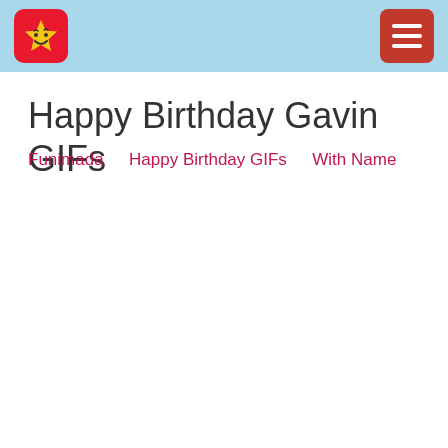Funimada — Happy Birthday GIFs — With Name
Happy Birthday Gavin GIFs
Funimada  Happy Birthday GIFs  With Name